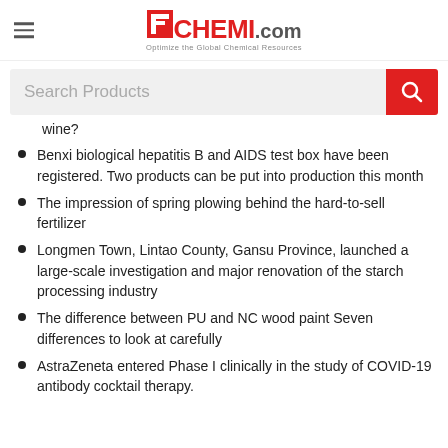ECHEMI.com — Optimize the Global Chemical Resources
Search Products
wine?
Benxi biological hepatitis B and AIDS test box have been registered. Two products can be put into production this month
The impression of spring plowing behind the hard-to-sell fertilizer
Longmen Town, Lintao County, Gansu Province, launched a large-scale investigation and major renovation of the starch processing industry
The difference between PU and NC wood paint Seven differences to look at carefully
AstraZeneta entered Phase I clinically in the study of COVID-19 antibody cocktail therapy.